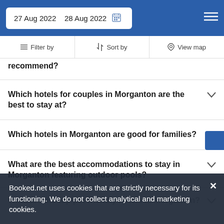27 Aug 2022  28 Aug 2022
Filter by  Sort by  View map
recommend?
Which hotels for couples in Morganton are the best to stay at?
Which hotels in Morganton are good for families?
What are the best accommodations to stay in Morganton featuring outdoor pools?
Booked.net uses cookies that are strictly necessary for its functioning. We do not collect analytical and marketing cookies.
What are the top pet-friendly hotels at Morganton?